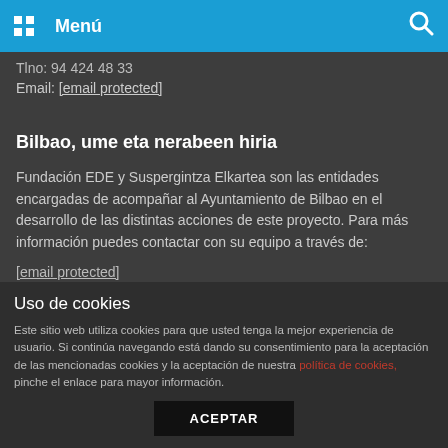Menú
Tlno: 94 424 48 33
Email: [email protected]
Bilbao, ume eta nerabeen hiria
Fundación EDE y Suspergintza Elkartea son las entidades encargadas de acompañar al Ayuntamiento de Bilbao en el desarrollo de las distintas acciones de este proyecto. Para más información puedes contactar con su equipo a través de:
[email protected]
[email protected]
Uso de cookies
Este sitio web utiliza cookies para que usted tenga la mejor experiencia de usuario. Si continúa navegando está dando su consentimiento para la aceptación de las mencionadas cookies y la aceptación de nuestra política de cookies, pinche el enlace para mayor información.
ACEPTAR